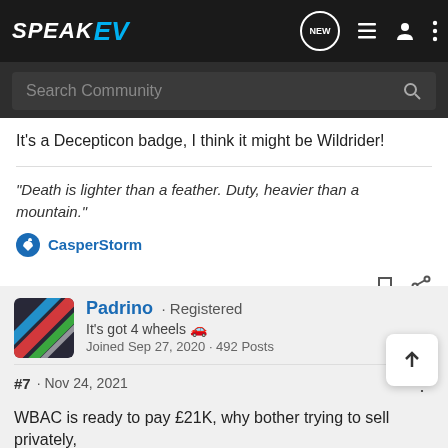SPEAK EV — Search Community nav bar
It's a Decepticon badge, I think it might be Wildrider!
“Death is lighter than a feather. Duty, heavier than a mountain.”
CasperStorm
Padrino · Registered
It's got 4 wheels 🚗
Joined Sep 27, 2020 · 492 Posts
#7 · Nov 24, 2021
WBAC is ready to pay £21K, why bother trying to sell privately,